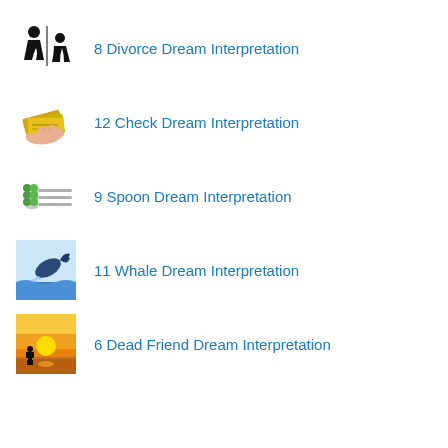8 Divorce Dream Interpretation
12 Check Dream Interpretation
9 Spoon Dream Interpretation
11 Whale Dream Interpretation
6 Dead Friend Dream Interpretation